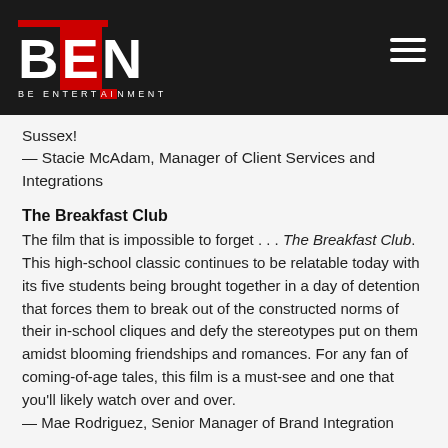BEN — BE ENTERTAINMENT
Sussex!
— Stacie McAdam, Manager of Client Services and Integrations
The Breakfast Club
The film that is impossible to forget . . . The Breakfast Club. This high-school classic continues to be relatable today with its five students being brought together in a day of detention that forces them to break out of the constructed norms of their in-school cliques and defy the stereotypes put on them amidst blooming friendships and romances. For any fan of coming-of-age tales, this film is a must-see and one that you'll likely watch over and over.
— Mae Rodriguez, Senior Manager of Brand Integration
Bridesmaids